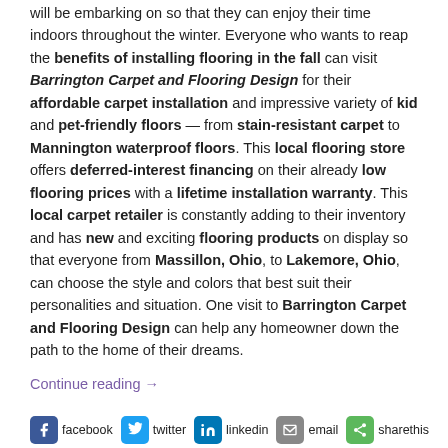will be embarking on so that they can enjoy their time indoors throughout the winter. Everyone who wants to reap the benefits of installing flooring in the fall can visit Barrington Carpet and Flooring Design for their affordable carpet installation and impressive variety of kid and pet-friendly floors — from stain-resistant carpet to Mannington waterproof floors. This local flooring store offers deferred-interest financing on their already low flooring prices with a lifetime installation warranty. This local carpet retailer is constantly adding to their inventory and has new and exciting flooring products on display so that everyone from Massillon, Ohio, to Lakemore, Ohio, can choose the style and colors that best suit their personalities and situation. One visit to Barrington Carpet and Flooring Design can help any homeowner down the path to the home of their dreams.
Continue reading →
[Figure (other): Social sharing bar with icons for facebook, twitter, linkedin, email, sharethis]